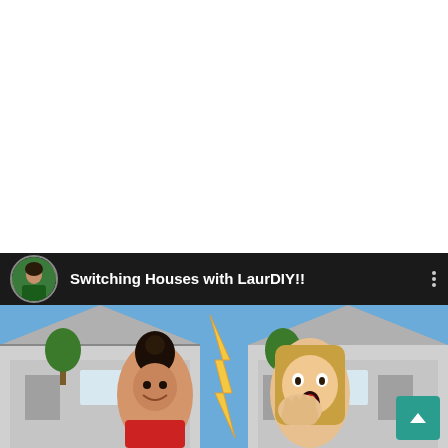[Figure (screenshot): YouTube video thumbnail showing two young women in front of suburban houses. One has dark hair in a bun, the other has long blonde hair and an expression of surprise with hand over mouth. A lightning bolt graphic separates them. Above the thumbnail is a dark header bar with a circular avatar photo of a woman in a green top, and the title 'Switching Houses with LaurDIY!!' in white text. A three-dot menu icon appears on the right. A teal scroll-to-top button with a chevron appears in the bottom right corner.]